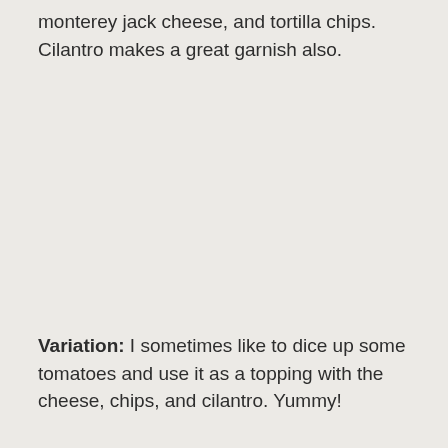monterey jack cheese, and tortilla chips.  Cilantro makes a great garnish also.
Variation:  I sometimes like to dice up some tomatoes and use it as a topping with the cheese, chips, and cilantro.  Yummy!